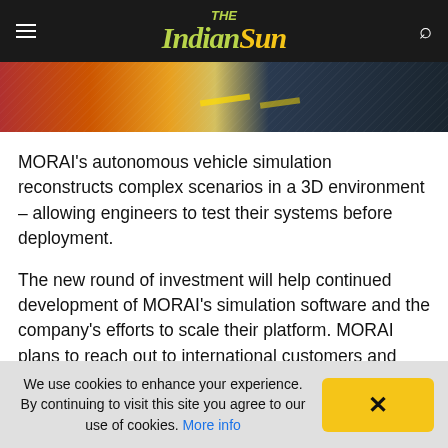The Indian Sun
[Figure (photo): Hero image strip showing autonomous vehicle / road scene with colorful overhead view and dark technology background]
MORAI's autonomous vehicle simulation reconstructs complex scenarios in a 3D environment – allowing engineers to test their systems before deployment.
The new round of investment will help continued development of MORAI's simulation software and the company's efforts to scale their platform. MORAI plans to reach out to international customers and partners, building on efforts earlier this year, in which the company completed multiple proof of concept
We use cookies to enhance your experience. By continuing to visit this site you agree to our use of cookies. More info